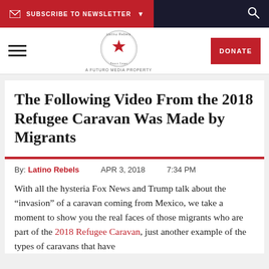SUBSCRIBE TO NEWSLETTER
[Figure (logo): Latino Rebels logo — circular badge with red star, text 'Latino Rebels' and 'A Futuro Media Property']
The Following Video From the 2018 Refugee Caravan Was Made by Migrants
By: Latino Rebels   APR 3, 2018   7:34 PM
With all the hysteria Fox News and Trump talk about the “invasion” of a caravan coming from Mexico, we take a moment to show you the real faces of those migrants who are part of the 2018 Refugee Caravan, just another example of the types of caravans that have